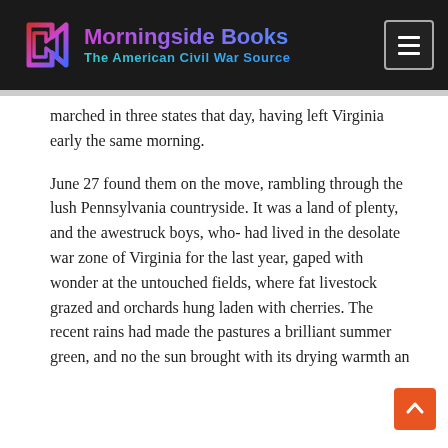Morningside Books — The American Civil War Source
marched in three states that day, having left Virginia early the same morning.
June 27 found them on the move, rambling through the lush Pennsylvania countryside. It was a land of plenty, and the awestruck boys, who- had lived in the desolate war zone of Virginia for the last year, gaped with wonder at the untouched fields, where fat livestock grazed and orchards hung laden with cherries. The recent rains had made the pastures a brilliant summer green, and no the sun brought with its drying warmth an